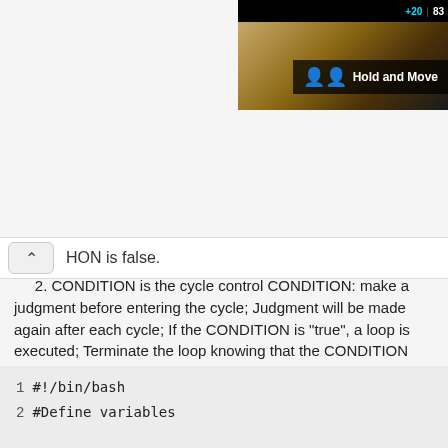[Figure (screenshot): Top-right corner showing a game HUD with +20 and 83 indicators, a dark landscape background, and a 'Hold and Move' overlay with a blue icon]
HON is false.
2. CONDITION is the cycle control CONDITION: make a judgment before entering the cycle; Judgment will be made again after each cycle; If the CONDITION is "true", a loop is executed; Terminate the loop knowing that the CONDITION test status is "false".
3. CONDITION should generally have loop control variables; The value of this variable is constantly modified in the loop body.
Example:
1) Calculate the sum of all positive odd numbers within 100
1  #!/bin/bash
2  #Define variables